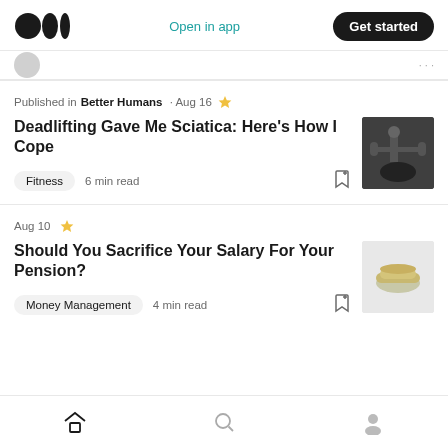Medium logo | Open in app | Get started
Published in Better Humans · Aug 16 ★
Deadlifting Gave Me Sciatica: Here's How I Cope
Fitness  6 min read
[Figure (photo): Black and white photo of a person deadlifting in a gym]
Aug 10 ★
Should You Sacrifice Your Salary For Your Pension?
Money Management  4 min read
[Figure (photo): Photo of a rolled up US dollar bill on a light grey background]